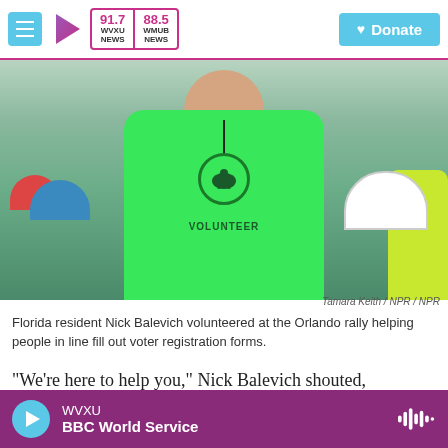WVXU 91.7 NEWS | WMUB 88.5 NEWS | Donate
[Figure (photo): Florida resident Nick Balevich in a bright green Republican volunteer shirt with elephant emblem, standing at the Orlando rally with crowd in background]
Tamara Keith / NPR / NPR
Florida resident Nick Balevich volunteered at the Orlando rally helping people in line fill out voter registration forms.
"We're here to help you," Nick Balevich shouted, clipboard in hand. "Is anyone here not registered to vote?"
WVXU BBC World Service